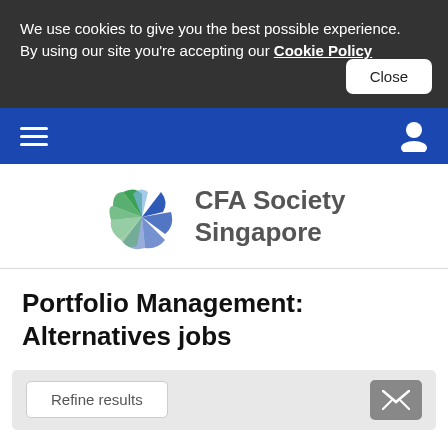We use cookies to give you the best possible experience. By using our site you're accepting our Cookie Policy
Close
[Figure (screenshot): CFA Society Singapore logo with pinwheel and text]
Portfolio Management: Alternatives jobs
Refine results